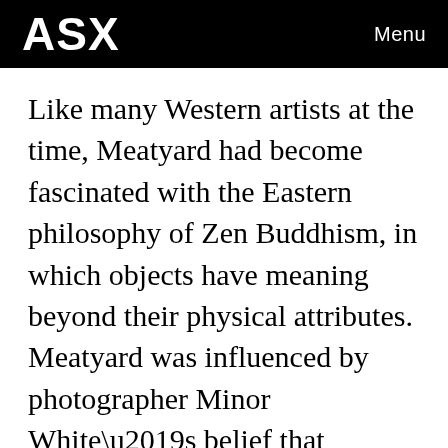ASX  Menu
Like many Western artists at the time, Meatyard had become fascinated with the Eastern philosophy of Zen Buddhism, in which objects have meaning beyond their physical attributes. Meatyard was influenced by photographer Minor White’s belief that photography (through abstraction, sequencing, and close-up details) could be used to liberate objects from their everyday reality. The No Focus series and Meatyard’s